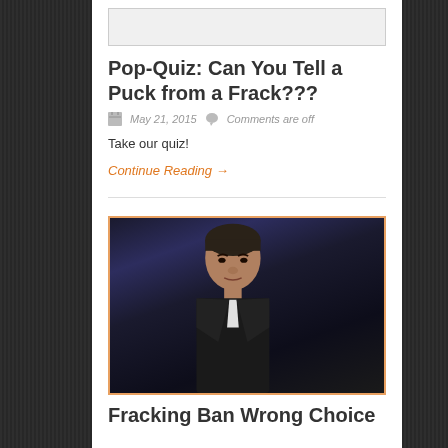[Figure (photo): Top image area placeholder (white box)]
Pop-Quiz: Can You Tell a Puck from a Frack???
May 21, 2015   Comments are off
Take our quiz!
Continue Reading →
[Figure (photo): Photo of a man in a dark suit against dark curtain background, appearing serious]
Fracking Ban Wrong Choice